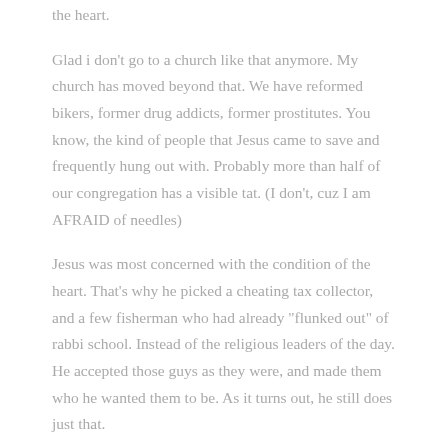the heart.
Glad i don't go to a church like that anymore. My church has moved beyond that. We have reformed bikers, former drug addicts, former prostitutes. You know, the kind of people that Jesus came to save and frequently hung out with. Probably more than half of our congregation has a visible tat. (I don't, cuz I am AFRAID of needles)
Jesus was most concerned with the condition of the heart. That's why he picked a cheating tax collector, and a few fisherman who had already "flunked out" of rabbi school. Instead of the religious leaders of the day. He accepted those guys as they were, and made them who he wanted them to be. As it turns out, he still does just that.